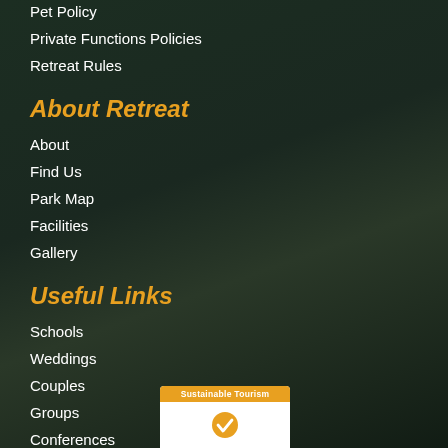Pet Policy
Private Functions Policies
Retreat Rules
About Retreat
About
Find Us
Park Map
Facilities
Gallery
Useful Links
Schools
Weddings
Couples
Groups
Conferences
[Figure (logo): Sustainable Tourism badge/logo with orange header and checkmark icon]